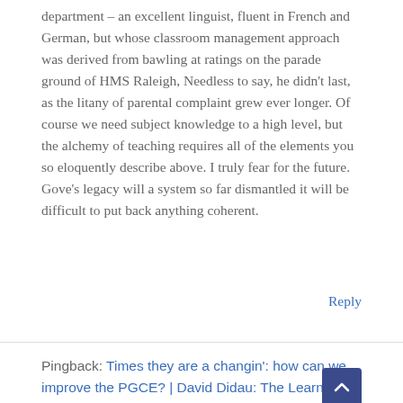department – an excellent linguist, fluent in French and German, but whose classroom management approach was derived from bawling at ratings on the parade ground of HMS Raleigh, Needless to say, he didn't last, as the litany of parental complaint grew ever longer. Of course we need subject knowledge to a high level, but the alchemy of teaching requires all of the elements you so eloquently describe above. I truly fear for the future. Gove's legacy will a system so far dismantled it will be difficult to put back anything coherent.
Reply
Pingback: Times they are a changin': how can we improve the PGCE? | David Didau: The Learning Spy